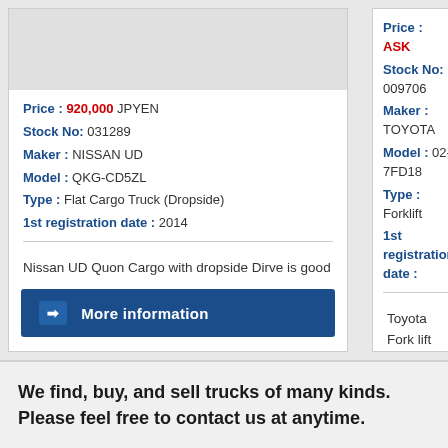Price : 920,000 JPYEN
Stock No: 031289
Maker : NISSAN UD
Model : QKG-CD5ZL
Type : Flat Cargo Truck (Dropside)
1st registration date : 2014
Nissan UD Quon Cargo with dropside Dirve is good
More information
Price : ASK
Stock No: 009706
Maker : TOYOTA
Model : 02-7FD18
Type : Forklift
1st registration date :
Toyota Fork lift
More
We find, buy, and sell trucks of many kinds.
Please feel free to contact us at anytime.